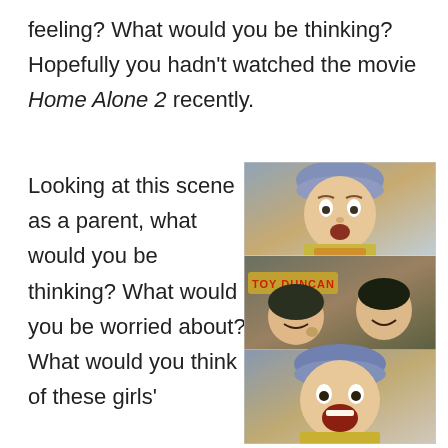feeling? What would you be thinking? Hopefully you hadn't watched the movie Home Alone 2 recently.
Looking at this scene as a parent, what would you be thinking? What would you be worried about? What would you think of these girls'
[Figure (photo): Three stacked film stills from Home Alone 2: top panel shows a young boy in a winter hat with a surprised expression; middle panel shows two men near a 'TOY DUNCAN' sign; bottom panel shows another surprised/scared child face.]